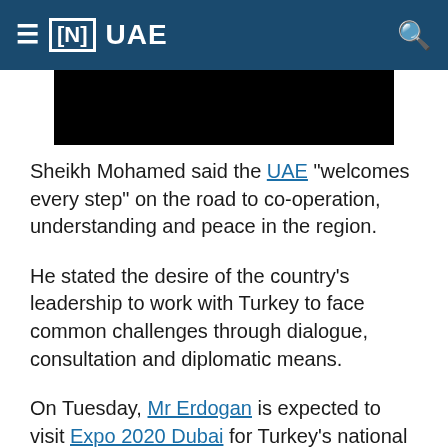≡ [N] UAE
[Figure (photo): Black rectangle image placeholder]
Sheikh Mohamed said the UAE "welcomes every step" on the road to co-operation, understanding and peace in the region.
He stated the desire of the country's leadership to work with Turkey to face common challenges through dialogue, consultation and diplomatic means.
On Tuesday, Mr Erdogan is expected to visit Expo 2020 Dubai for Turkey's national day of celebrations.
Dr Anwar Gargash, diplomatic adviser to UAE